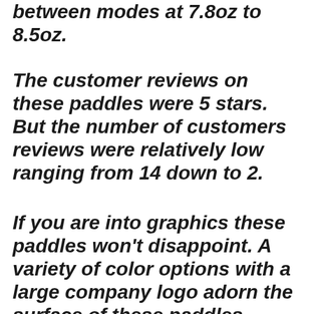between modes at 7.8oz to 8.5oz.
The customer reviews on these paddles were 5 stars. But the number of customers reviews were relatively low ranging from 14 down to 2.
If you are into graphics these paddles won't disappoint. A variety of color options with a large company logo adorn the surface of these paddles.